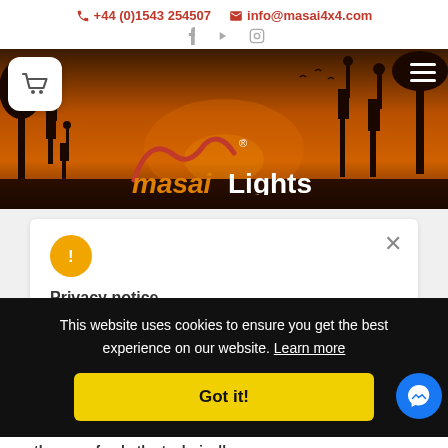+44 (0)1543 254507  info@masai4x4.com
[Figure (screenshot): Masai Lights website hero banner with African savanna sunset background, silhouettes of giraffes and acacia trees, Masai Lights logo in orange and white, shopping cart icon, hamburger menu]
Privacy notice
We use cookies and similar technologies to
This website uses cookies to ensure you get the best experience on our website. Learn more
Got it!
the use of only the technically necessary